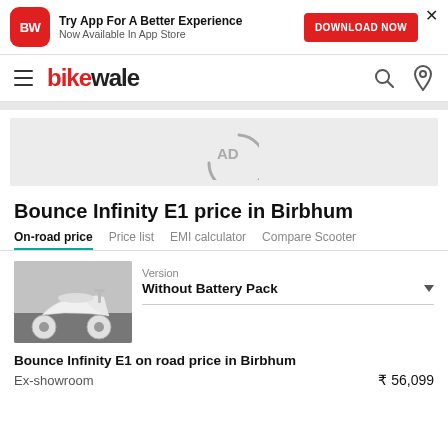[Figure (screenshot): App download banner with BikeWale logo (BW red square icon), text 'Try App For A Better Experience / Now Available In App Store', red DOWNLOAD NOW button, and close X button]
[Figure (logo): BikeWale website navigation bar with hamburger menu, BikeWale logo (bike in red, wale in black), search icon and location pin icon on the right]
[Figure (other): AD placeholder grey rectangle with circular arc AD logo in center]
Bounce Infinity E1 price in Birbhum
On-road price | Price list | EMI calculator | Compare Scooter
[Figure (photo): White electric scooter (Bounce Infinity E1) parked against a grey wall, shown from a 3/4 front angle]
Version
Without Battery Pack
Bounce Infinity E1 on road price in Birbhum
Ex-showroom   ₹ 56,099